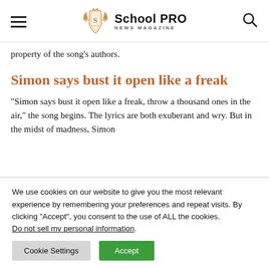School PRO NEWS MAGAZINE
property of the song's authors.
Simon says bust it open like a freak
“Simon says bust it open like a freak, throw a thousand ones in the air,” the song begins. The lyrics are both exuberant and wry. But in the midst of madness, Simon
We use cookies on our website to give you the most relevant experience by remembering your preferences and repeat visits. By clicking “Accept”, you consent to the use of ALL the cookies.
Do not sell my personal information.